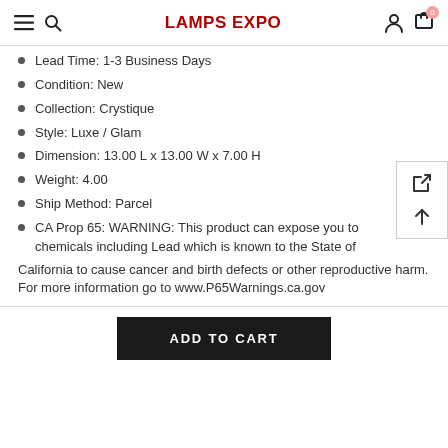LAMPS EXPO
Lead Time: 1-3 Business Days
Condition: New
Collection: Crystique
Style: Luxe / Glam
Dimension: 13.00 L x 13.00 W x 7.00 H
Weight: 4.00
Ship Method: Parcel
CA Prop 65: WARNING: This product can expose you to chemicals including Lead which is known to the State of California to cause cancer and birth defects or other reproductive harm. For more information go to www.P65Warnings.ca.gov
ADD TO CART